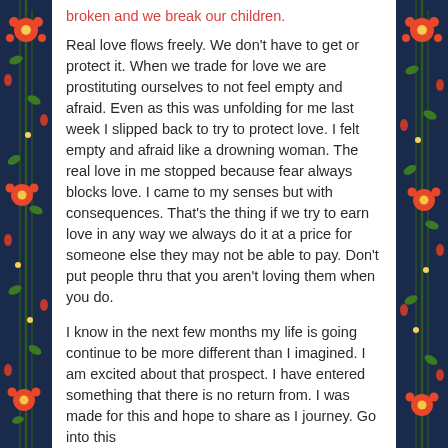broken and we break our children.
Real love flows freely. We don't have to get or protect it. When we trade for love we are prostituting ourselves to not feel empty and afraid.  Even as this was unfolding for me last week I slipped back to try to protect love. I felt empty and afraid like a drowning woman. The real love in me stopped because fear always blocks love.  I came to my senses but with consequences. That's the thing if we try to earn love in any way we always do it at a price for someone else they may not be able to pay. Don't put people thru that you aren't loving them when you do.
I know in the next few months my life is going continue to be more different than I imagined. I am excited about that prospect. I have entered something that there is no return from.  I was made for this and hope to share as I journey.  Go into this